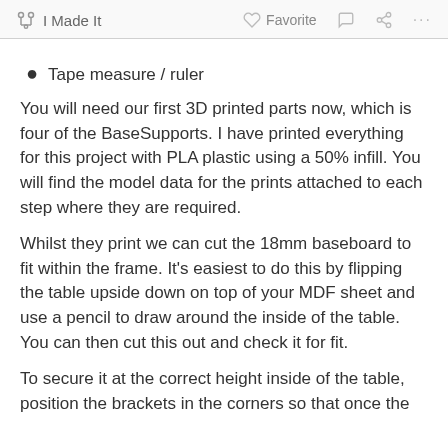I Made It   Favorite   ... ...
Tape measure / ruler
You will need our first 3D printed parts now, which is four of the BaseSupports. I have printed everything for this project with PLA plastic using a 50% infill. You will find the model data for the prints attached to each step where they are required.
Whilst they print we can cut the 18mm baseboard to fit within the frame. It's easiest to do this by flipping the table upside down on top of your MDF sheet and use a pencil to draw around the inside of the table. You can then cut this out and check it for fit.
To secure it at the correct height inside of the table, position the brackets in the corners so that once the